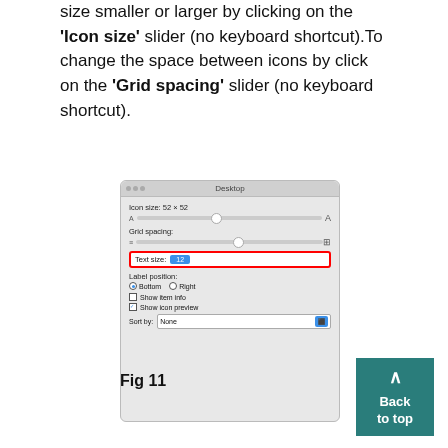size smaller or larger by clicking on the 'Icon size' slider (no keyboard shortcut). To change the space between icons by click on the 'Grid spacing' slider (no keyboard shortcut).
[Figure (screenshot): macOS Desktop preferences panel showing Icon size slider, Grid spacing slider, Text size field (highlighted with red border, value 12), Label position radio buttons (Bottom selected, Right), Show item info checkbox, Show icon preview checkbox (checked), and Sort by dropdown (None).]
Fig 11